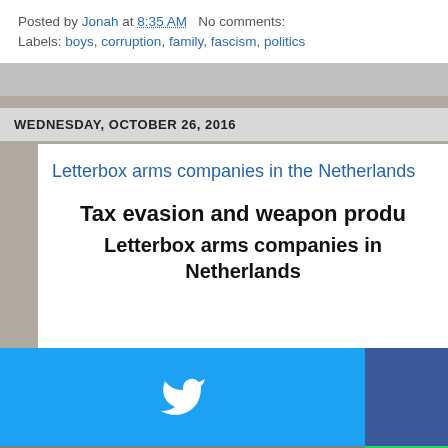Posted by Jonah at 8:35 AM   No comments:
Labels: boys, corruption, family, fascism, politics
WEDNESDAY, OCTOBER 26, 2016
Letterbox arms companies in the Netherlands
[Figure (screenshot): Partial view of a document cover with text: 'Tax evasion and weapon produ...' and 'Letterbox arms companies in Netherlands']
[Figure (infographic): Social media share buttons grid: Twitter (blue), Facebook (dark blue), Email (gray), WhatsApp (green), SMS (light blue), other share icon (green)]
[Figure (photo): Partial photo of euro banknotes, bottom right corner]